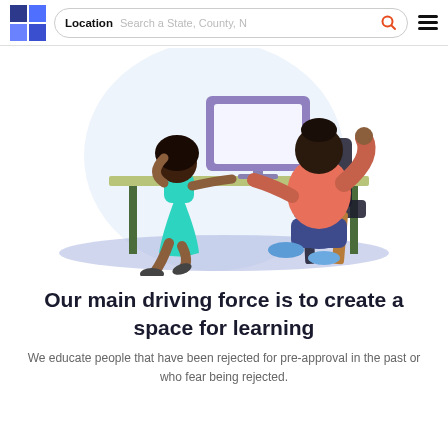Location   Search a State, County, N...
[Figure (illustration): Illustration of a woman sitting at a desk with a computer monitor, and a young child standing beside the desk reaching up. There is a light blue circular background behind them and a bluish-purple oval shadow on the floor.]
Our main driving force is to create a space for learning
We educate people that have been rejected for pre-approval in the past or who fear being rejected.